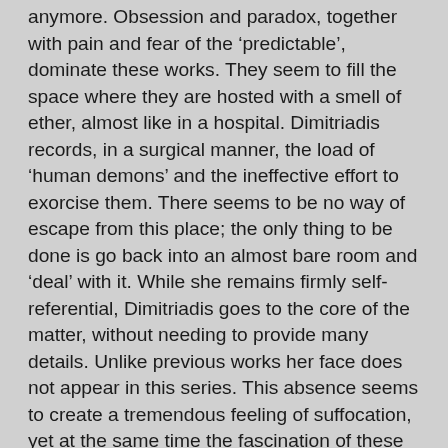anymore. Obsession and paradox, together with pain and fear of the 'predictable', dominate these works. They seem to fill the space where they are hosted with a smell of ether, almost like in a hospital. Dimitriadis records, in a surgical manner, the load of 'human demons' and the ineffective effort to exorcise them. There seems to be no way of escape from this place; the only thing to be done is go back into an almost bare room and 'deal' with it. While she remains firmly self-referential, Dimitriadis goes to the core of the matter, without needing to provide many details. Unlike previous works her face does not appear in this series. This absence seems to create a tremendous feeling of suffocation, yet at the same time the fascination of these abstract images –of a female body, herself, completely covered under the bed sheet in her bed, Oblivion's exercises, 2005 – is perversely gratifying, like the pleasure formed sometimes by deep pain.